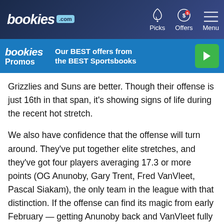bookies.com | Picks | Offers | Menu
[Figure (infographic): Bookies Promos banner: Our BEST offers from the BEST Sportsbooks with play button]
Grizzlies and Suns are better. Though their offense is just 16th in that span, it's showing signs of life during the recent hot stretch.
We also have confidence that the offense will turn around. They've put together elite stretches, and they've got four players averaging 17.3 or more points (OG Anunoby, Gary Trent, Fred VanVleet, Pascal Siakam), the only team in the league with that distinction. If the offense can find its magic from early February — getting Anunoby back and VanVleet fully healthy will help — the defense is good enough to keep them competitive against anyone.